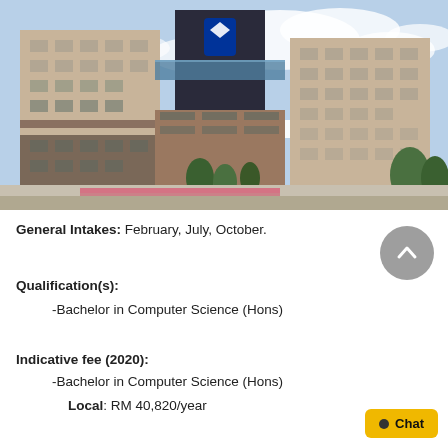[Figure (photo): Exterior photograph of Monash University Malaysia campus building — modern beige and brown multi-storey buildings with a glass skybridge connecting them, blue sky with clouds in background, landscaping with shrubs and trees in foreground.]
General Intakes: February, July, October.
Qualification(s):
-Bachelor in Computer Science (Hons)
Indicative fee (2020):
-Bachelor in Computer Science (Hons)
Local: RM 40,820/year